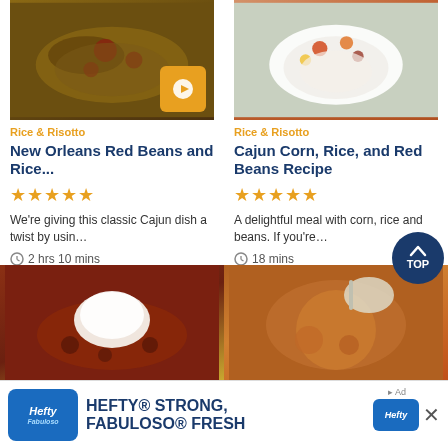[Figure (photo): Bowl of New Orleans Red Beans and Rice with play button overlay]
[Figure (photo): Bowl of Cajun Corn, Rice, and Red Beans]
Rice & Risotto
Rice & Risotto
New Orleans Red Beans and Rice...
Cajun Corn, Rice, and Red Beans Recipe
★★★★★
★★★★★
We're giving this classic Cajun dish a twist by usin…
A delightful meal with corn, rice and beans. If you're…
2 hrs 10 mins
18 mins
[Figure (photo): Red beans and rice dish with white rice mound]
[Figure (photo): Indian-style lentil/bean curry dish in bowl]
HEFTY® STRONG, FABULOSO® FRESH